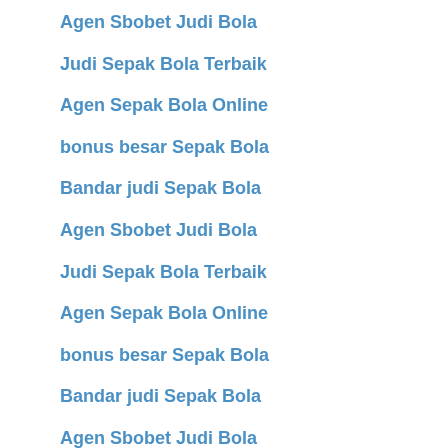Agen Sbobet Judi Bola
Judi Sepak Bola Terbaik
Agen Sepak Bola Online
bonus besar Sepak Bola
Bandar judi Sepak Bola
Agen Sbobet Judi Bola
Judi Sepak Bola Terbaik
Agen Sepak Bola Online
bonus besar Sepak Bola
Bandar judi Sepak Bola
Agen Sbobet Judi Bola
Judi Sepak Bola Terbaik